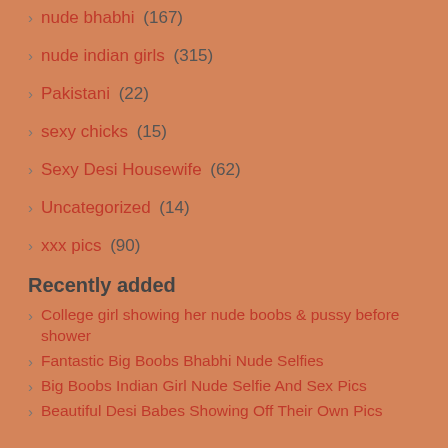nude bhabhi (167)
nude indian girls (315)
Pakistani (22)
sexy chicks (15)
Sexy Desi Housewife (62)
Uncategorized (14)
xxx pics (90)
Recently added
College girl showing her nude boobs & pussy before shower
Fantastic Big Boobs Bhabhi Nude Selfies
Big Boobs Indian Girl Nude Selfie And Sex Pics
Beautiful Desi Babes Showing Off Their Own Pics